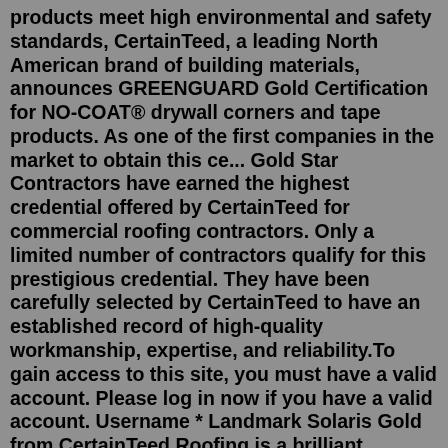products meet high environmental and safety standards, CertainTeed, a leading North American brand of building materials, announces GREENGUARD Gold Certification for NO-COAT® drywall corners and tape products. As one of the first companies in the market to obtain this ce... Gold Star Contractors have earned the highest credential offered by CertainTeed for commercial roofing contractors. Only a limited number of contractors qualify for this prestigious credential. They have been carefully selected by CertainTeed to have an established record of high-quality workmanship, expertise, and reliability.To gain access to this site, you must have a valid account. Please log in now if you have a valid account. Username * Landmark Solaris Gold from CertainTeed Roofing is a brilliant energy-saving breakthrough that puts cool roof technology to work. Landmark Solaris is a steep-slope, solar reflective asphalt roofing shingle which contains advanced colored granules that reflect solar